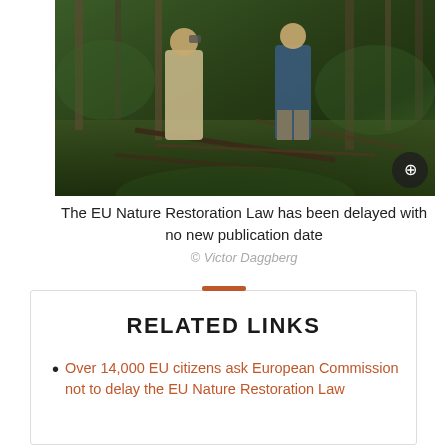[Figure (photo): Two people standing in a dense green forest with fallen branches and lush green undergrowth. One person wearing a beige coat holds binoculars, another in a blue jacket stands nearby.]
The EU Nature Restoration Law has been delayed with no new publication date
© Victor Daggberg
RELATED LINKS
Over 14,000 EU citizens ask European Commission not to delay the EU Nature Restoration Law